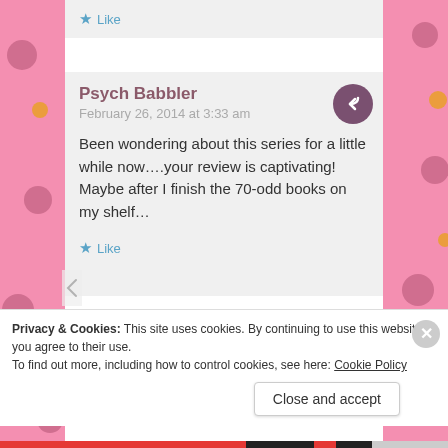[Figure (screenshot): Partial blog comment showing a Like button with a star icon at the top of the page]
[Figure (screenshot): Blog comment by Psych Babbler dated February 26, 2014 at 3:33 am with reply button and Like button]
Been wondering about this series for a little while now....your review is captivating! Maybe after I finish the 70-odd books on my shelf...
Privacy & Cookies: This site uses cookies. By continuing to use this website, you agree to their use.
To find out more, including how to control cookies, see here: Cookie Policy
Close and accept